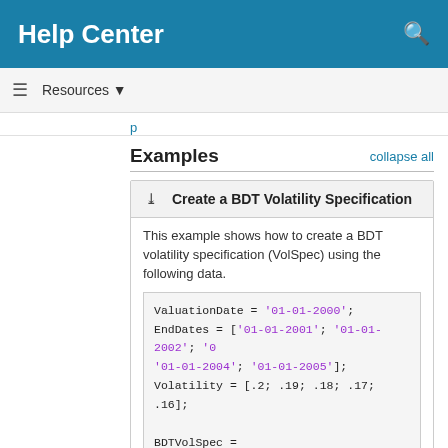Help Center
Examples
Create a BDT Volatility Specification
This example shows how to create a BDT volatility specification (VolSpec) using the following data.
ValuationDate = '01-01-2000';
EndDates = ['01-01-2001'; '01-01-2002'; '0
'01-01-2004'; '01-01-2005'];
Volatility = [.2; .19; .18; .17; .16];

BDTVolSpec = bdtvolspec(ValuationDate, End
BDTVolSpec = struct with fields:
          FinObj: 'BDTVolSpec'
    ValuationDate: 730486